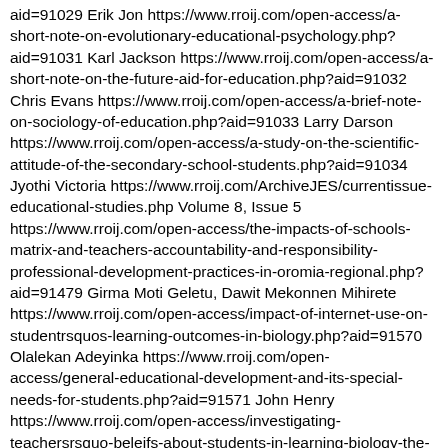aid=91029 Erik Jon https://www.rroij.com/open-access/a-short-note-on-evolutionary-educational-psychology.php?aid=91031 Karl Jackson https://www.rroij.com/open-access/a-short-note-on-the-future-aid-for-education.php?aid=91032 Chris Evans https://www.rroij.com/open-access/a-brief-note-on-sociology-of-education.php?aid=91033 Larry Darson https://www.rroij.com/open-access/a-study-on-the-scientific-attitude-of-the-secondary-school-students.php?aid=91034 Jyothi Victoria https://www.rroij.com/ArchiveJES/currentissue-educational-studies.php Volume 8, Issue 5 https://www.rroij.com/open-access/the-impacts-of-schools-matrix-and-teachers-accountability-and-responsibility-professional-development-practices-in-oromia-regional.php?aid=91479 Girma Moti Geletu, Dawit Mekonnen Mihirete https://www.rroij.com/open-access/impact-of-internet-use-on-studentrsquos-learning-outcomes-in-biology.php?aid=91570 Olalekan Adeyinka https://www.rroij.com/open-access/general-educational-development-and-its-special-needs-for-students.php?aid=91571 John Henry https://www.rroij.com/open-access/investigating-teachersrsquo-beleifs-about-students-in-learning-biology-the-role-of-teachers-in-individual-learning-differences.php?aid=91572 Olalekan Adeyinka https://www.rroij.com/open-access/medication-compliance-in-israeli-children-with-adhd-a-cross-sectional-study.php?aid=91574 Dana Lazar BarDavid, Idit GoldsteinGlikser, Tally LermanSagie